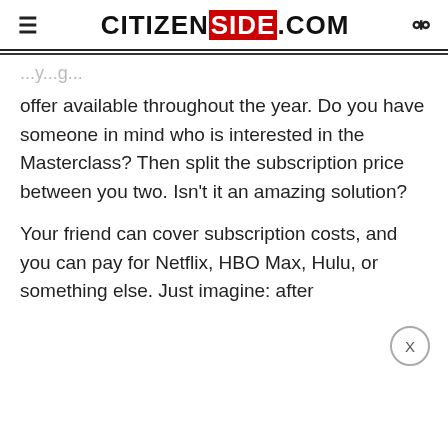CITIZENSIDE.COM
offer available throughout the year. Do you have someone in mind who is interested in the Masterclass? Then split the subscription price between you two. Isn't it an amazing solution?
Your friend can cover subscription costs, and you can pay for Netflix, HBO Max, Hulu, or something else. Just imagine: after